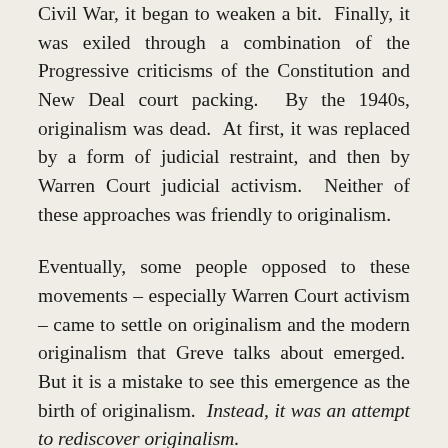Civil War, it began to weaken a bit. Finally, it was exiled through a combination of the Progressive criticisms of the Constitution and New Deal court packing. By the 1940s, originalism was dead. At first, it was replaced by a form of judicial restraint, and then by Warren Court judicial activism. Neither of these approaches was friendly to originalism.
Eventually, some people opposed to these movements – especially Warren Court activism – came to settle on originalism and the modern originalism that Greve talks about emerged. But it is a mistake to see this emergence as the birth of originalism. Instead, it was an attempt to rediscover originalism.
It has taken some time for a genuine originalism to be rediscovered (what Greve refers to as